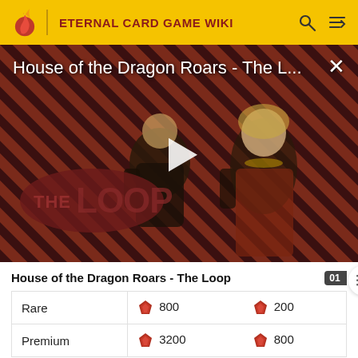ETERNAL CARD GAME WIKI
[Figure (screenshot): Video thumbnail for 'House of the Dragon Roars - The Loop' showing two characters from House of the Dragon TV series on a diagonal striped red/dark background, with a play button overlay and 'THE LOOP' text branding.]
House of the Dragon Roars - The Loop
|  |  |  |
| --- | --- | --- |
| Rare | 800 | 200 |
| Premium | 3200 | 800 |